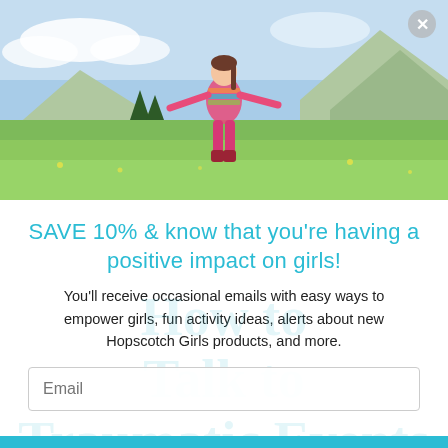[Figure (photo): A young girl in colorful striped long-sleeve top, pink leggings and red boots, arms outstretched, running joyfully through a green Alpine meadow with mountains and blue sky in background.]
SAVE 10% & know that you're having a positive impact on girls!
You'll receive occasional emails with easy ways to empower girls, fun activity ideas, alerts about new Hopscotch Girls products, and more.
Email